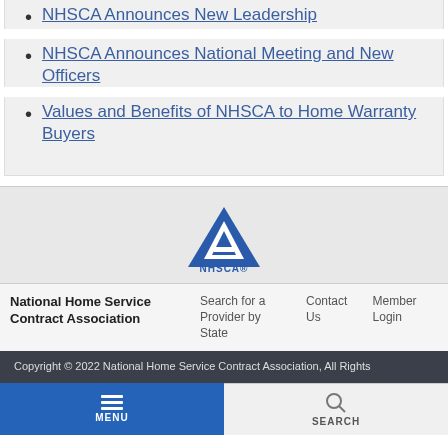NHSCA Announces New Leadership
NHSCA Announces National Meeting and New Officers
Values and Benefits of NHSCA to Home Warranty Buyers
[Figure (logo): NHSCA triangle logo with text NHSCA below]
National Home Service Contract Association
Search for a Provider by State
Contact Us
Member Login
Copyright © 2022 National Home Service Contract Association, All Rights
MENU
SEARCH